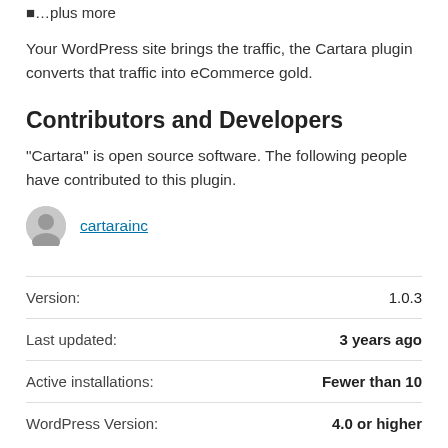…plus more
Your WordPress site brings the traffic, the Cartara plugin converts that traffic into eCommerce gold.
Contributors and Developers
“Cartara” is open source software. The following people have contributed to this plugin.
cartarainc
|  |  |
| --- | --- |
| Version: | 1.0.3 |
| Last updated: | 3 years ago |
| Active installations: | Fewer than 10 |
| WordPress Version: | 4.0 or higher |